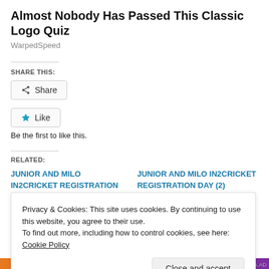Almost Nobody Has Passed This Classic Logo Quiz
WarpedSpeed
SHARE THIS:
[Figure (screenshot): Share button with share icon]
[Figure (screenshot): Like button with blue star icon]
Be the first to like this.
RELATED:
JUNIOR AND MILO In2Cricket REGISTRATION DAY
JUNIOR AND MILO In2Cricket REGISTRATION DAY (2)
Privacy & Cookies: This site uses cookies. By continuing to use this website, you agree to their use.
To find out more, including how to control cookies, see here: Cookie Policy
Close and accept